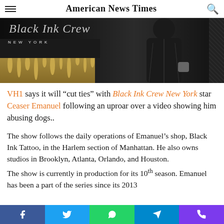American News Times
[Figure (photo): Black Ink Crew New York promotional banner image with text 'NEW YORK', showing a figure in a black leather jacket against a dark background with gold dripping paint design.]
VH1 says it will “cut ties” with Black Ink Crew New York star Ceaser Emanuel following an uproar over a video showing him abusing dogs..
The show follows the daily operations of Emanuel’s shop, Black Ink Tattoo, in the Harlem section of Manhattan. He also owns studios in Brooklyn, Atlanta, Orlando, and Houston.
The show is currently in production for its 10th season. Emanuel has been a part of the series since its 2013